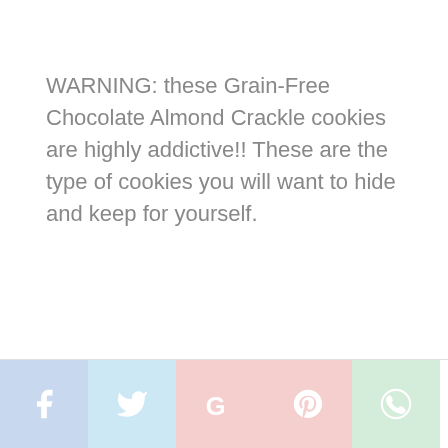WARNING: these Grain-Free Chocolate Almond Crackle cookies are highly addictive!! These are the type of cookies you will want to hide and keep for yourself.
[Figure (infographic): Social media share buttons: Facebook (blue), Twitter (light blue), Google (red/pink), Pinterest (red/pink), WhatsApp (green)]